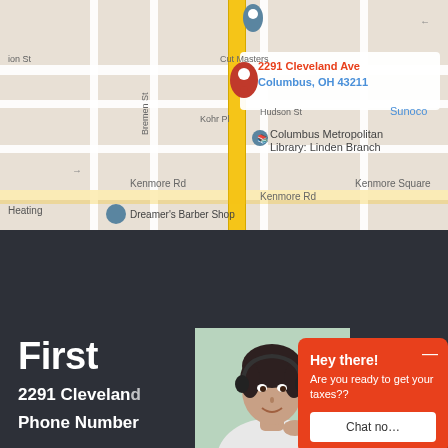[Figure (map): Google Maps screenshot showing 2291 Cleveland Ave, Columbus, OH 43211 with a red location pin. Nearby landmarks include Cut Masters, Columbus Metropolitan Library Linden Branch, Dreamer's Barber Shop, Kenmore Rd, Bremen St, Kohr Pl, Hudson St, Sunoco, and Kenmore Square. A yellow road runs vertically through the center.]
First
2291 Cleveland
Phone Number
[Figure (photo): Woman wearing a headset smiling, representing a customer service agent.]
Hey there!
Are you ready to get your taxes??
Chat no…